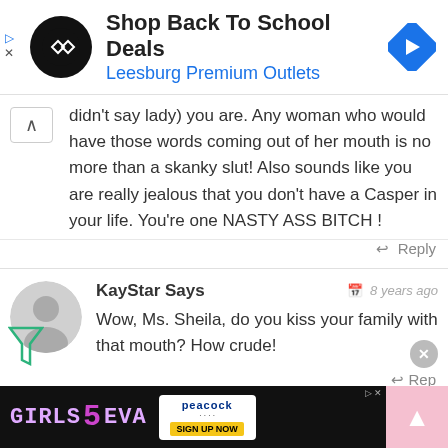[Figure (screenshot): Advertisement banner for 'Shop Back To School Deals' at Leesburg Premium Outlets, with a black circular logo and a blue navigation arrow icon]
didn't say lady) you are. Any woman who would have those words coming out of her mouth is no more than a skanky slut! Also sounds like you are really jealous that you don't have a Casper in your life. You're one NASTY ASS BITCH !
Reply
KayStar Says
8 years ago
Wow, Ms. Sheila, do you kiss your family with that mouth? How crude!
Rep
[Figure (screenshot): Bottom advertisement banner for GIRLS 5 EVA on Peacock with SIGN UP NOW button]